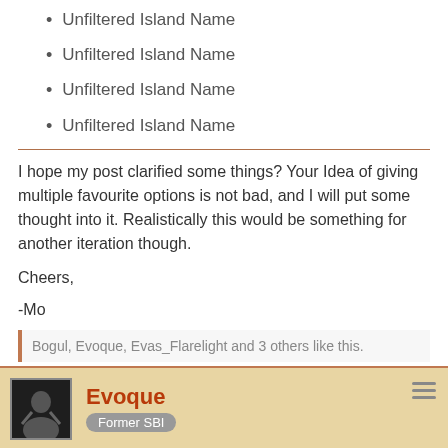Unfiltered Island Name
Unfiltered Island Name
Unfiltered Island Name
Unfiltered Island Name
I hope my post clarified some things? Your Idea of giving multiple favourite options is not bad, and I will put some thought into it. Realistically this would be something for another iteration though.
Cheers,
-Mo
Bogul, Evoque, Evas_Flarelight and 3 others like this.
Evoque
Former SBI